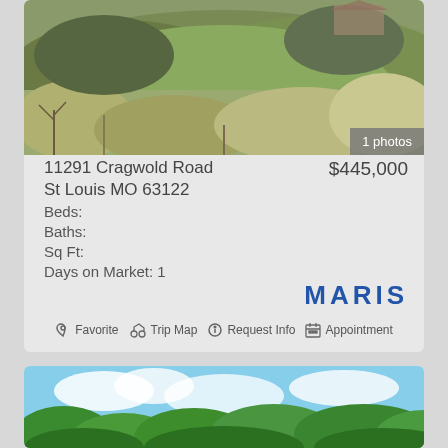[Figure (photo): Aerial view of a wooded hillside property with sparse trees and brush, greenish-brown landscape from above]
1 photos
11291 Cragwold Road
St Louis MO 63122
Beds:
Baths:
Sq Ft:
Days on Market: 1
$445,000
[Figure (logo): MARIS logo in bold blue letters with wide letter-spacing]
Favorite  Trip Map  Request Info  Appointment
[Figure (photo): Lush green tree canopy photographed from below against a blue sky with clouds]